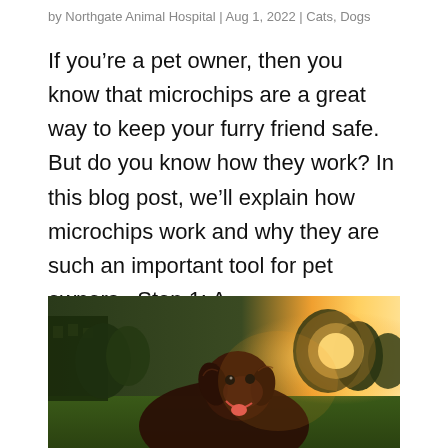by Northgate Animal Hospital | Aug 1, 2022 | Cats, Dogs
If you’re a pet owner, then you know that microchips are a great way to keep your furry friend safe. But do you know how they work? In this blog post, we’ll explain how microchips work and why they are such an important tool for pet owners.  Step 1: A...
[Figure (photo): A happy brown dog sitting outdoors in a sunlit park, with trees and a building in the background. The sun creates a warm golden glow behind the dog.]